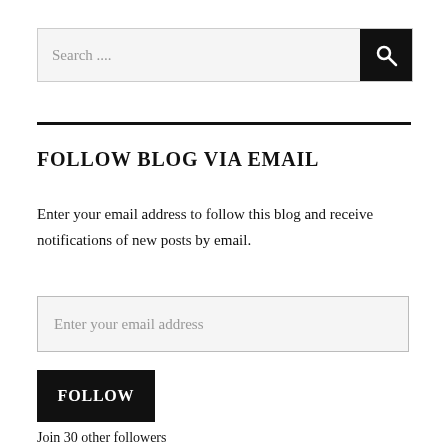Search ....
FOLLOW BLOG VIA EMAIL
Enter your email address to follow this blog and receive notifications of new posts by email.
Enter your email address
FOLLOW
Join 30 other followers